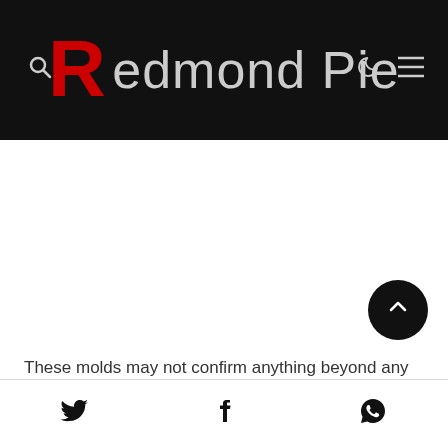Redmond Pie
These molds may not confirm anything beyond any
Twitter | Facebook | WhatsApp social share icons